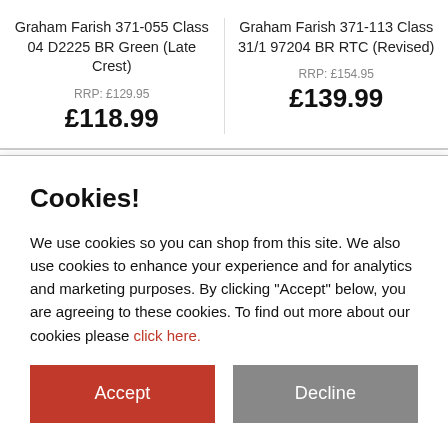Graham Farish 371-055 Class 04 D2225 BR Green (Late Crest)
RRP: £129.95
£118.99
Graham Farish 371-113 Class 31/1 97204 BR RTC (Revised)
RRP: £154.95
£139.99
Cookies!
We use cookies so you can shop from this site. We also use cookies to enhance your experience and for analytics and marketing purposes. By clicking "Accept" below, you are agreeing to these cookies. To find out more about our cookies please click here.
Accept
Decline